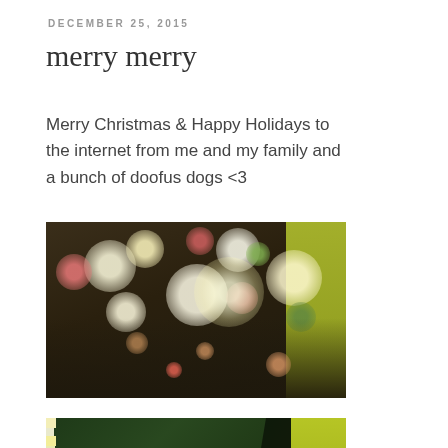DECEMBER 25, 2015
merry merry
Merry Christmas & Happy Holidays to the internet from me and my family and a bunch of doofus dogs <3
[Figure (photo): Blurred bokeh photo of a Christmas tree with colorful lights and presents in the background]
[Figure (photo): Photo of a decorated Christmas tree with lights, ornaments, and gifts underneath, with a yellow/green background]